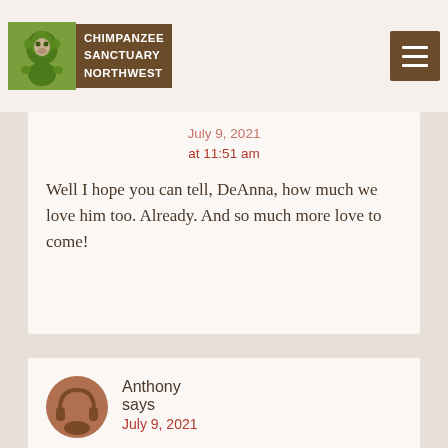Chimpanzee Sanctuary Northwest
July 9, 2021 at 11:51 am
Well I hope you can tell, DeAnna, how much we love him too. Already. And so much more love to come!
[Figure (illustration): Brown circular avatar icon showing a person with headphones silhouette]
Anthony says July 9, 2021